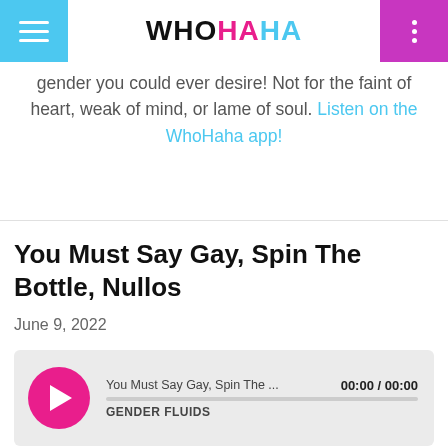WHOHAHA
gender you could ever desire! Not for the faint of heart, weak of mind, or lame of soul. Listen on the WhoHaha app!
You Must Say Gay, Spin The Bottle, Nullos
June 9, 2022
[Figure (other): Audio player widget showing episode 'You Must Say Gay, Spin The...' with play button, time 00:00 / 00:00, and label GENDER FLUIDS]
Arielle saw a great billboard while driving in the middle of nowhere. Ava thinks you should have to